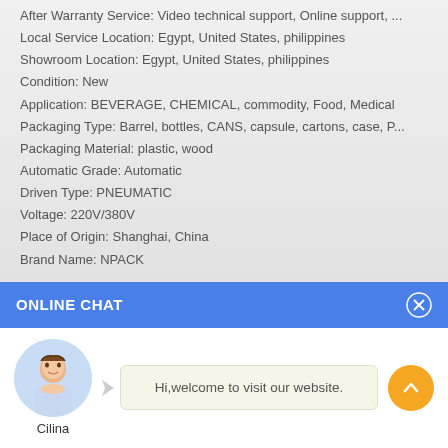After Warranty Service: Video technical support, Online support, ...
Local Service Location: Egypt, United States, philippines
Showroom Location: Egypt, United States, philippines
Condition: New
Application: BEVERAGE, CHEMICAL, commodity, Food, Medical
Packaging Type: Barrel, bottles, CANS, capsule, cartons, case, P...
Packaging Material: plastic, wood
Automatic Grade: Automatic
Driven Type: PNEUMATIC
Voltage: 220V/380V
Place of Origin: Shanghai, China
Brand Name: NPACK
ONLINE CHAT
[Figure (photo): Avatar photo of a woman named Cilina]
Hi,welcome to visit our website.